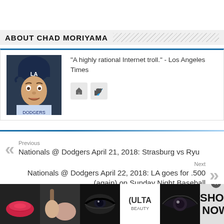ABOUT CHAD MORIYAMA
[Figure (photo): Headshot of Chad Moriyama (baseball player with LA Dodgers helmet, looking surprised)]
"A highly rational Internet troll." - Los Angeles Times
[Figure (infographic): Social media buttons: home icon and Twitter bird icon]
Previous
Nationals @ Dodgers April 21, 2018: Strasburg vs Ryu
Next
Nationals @ Dodgers April 22, 2018: LA goes for .500 (again) on Sunday Night Baseball
[Figure (photo): Ulta Beauty advertisement banner at bottom of page with makeup images and SHOP NOW call to action]